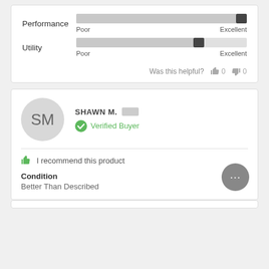[Figure (infographic): Performance rating slider nearly at Excellent end, with Poor and Excellent labels below]
[Figure (infographic): Utility rating slider at approximately 3/4 position, with Poor and Excellent labels below]
Was this helpful? 0 0
SM
SHAWN M.
Verified Buyer
I recommend this product
Condition
Better Than Described